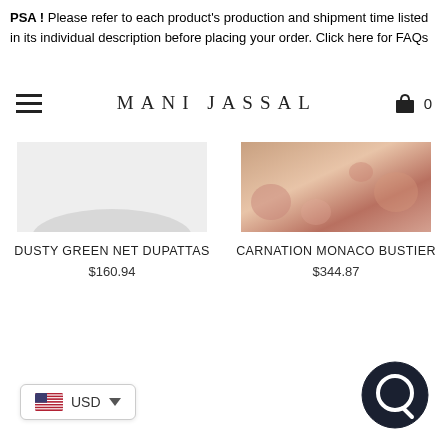PSA! Please refer to each product's production and shipment time listed in its individual description before placing your order. Click here for FAQs
MANI JASSAL
[Figure (photo): Dusty green net dupatta product image - light grey background with partial fabric visible]
DUSTY GREEN NET DUPATTAS
$160.94
[Figure (photo): Carnation Monaco Bustier product image - pink/peach floral fabric with flowers in background]
CARNATION MONACO BUSTIER
$344.87
USD
[Figure (other): Chat support button - dark circular icon with chat bubble]